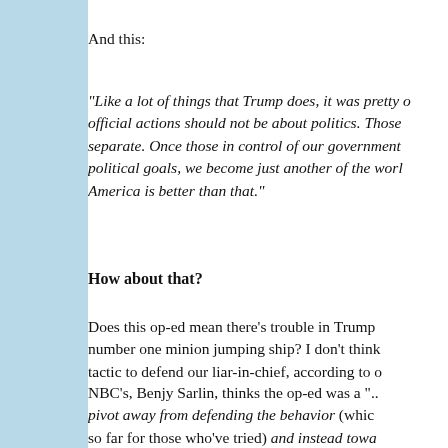And this:
"Like a lot of things that Trump does, it was pretty o... official actions should not be about politics. Those separate. Once those in control of our government political goals, we become just another of the worl... America is better than that."
How about that?
Does this op-ed mean there's trouble in Trump... number one minion jumping ship? I don't think tactic to defend our liar-in-chief, according to o...
NBC's, Benjy Sarlin, thinks the op-ed was a "... pivot away from defending the behavior (which so far for those who've tried) and instead towa...